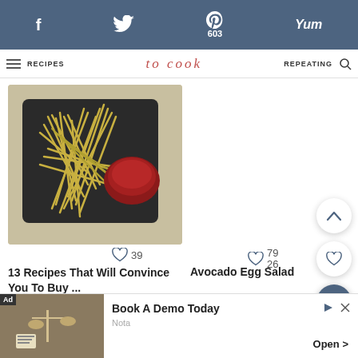f  Twitter  603  Yum
RECIPES  to cook  REPEATING
[Figure (photo): Overhead photo of a baking tray with shoestring fries and a bowl of red dipping sauce]
39
13 Recipes That Will Convince You To Buy ...
79
26
Avocado Egg Salad
MORE •••
[Figure (screenshot): Advertisement banner: Ad | Book A Demo Today | Nota | Open >]